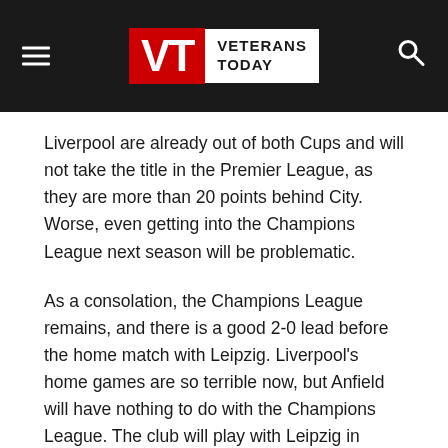Veterans Today
Liverpool are already out of both Cups and will not take the title in the Premier League, as they are more than 20 points behind City. Worse, even getting into the Champions League next season will be problematic.
As a consolation, the Champions League remains, and there is a good 2-0 lead before the home match with Leipzig. Liverpool's home games are so terrible now, but Anfield will have nothing to do with the Champions League. The club will play with Leipzig in Budapest.
And for the second year in a row, Liverpool face a very sad spring. And there is no end in sight.